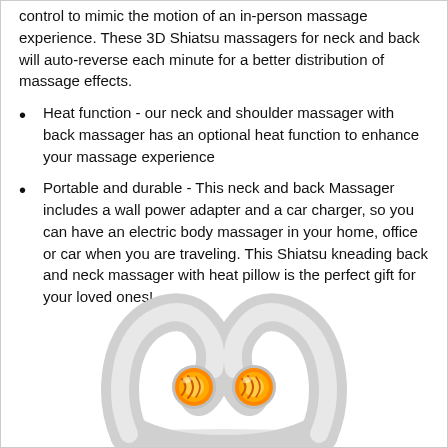control to mimic the motion of an in-person massage experience. These 3D Shiatsu massagers for neck and back will auto-reverse each minute for a better distribution of massage effects.
Heat function - our neck and shoulder massager with back massager has an optional heat function to enhance your massage experience
Portable and durable - This neck and back Massager includes a wall power adapter and a car charger, so you can have an electric body massager in your home, office or car when you are traveling. This Shiatsu kneading back and neck massager with heat pillow is the perfect gift for your loved ones!
[Figure (photo): Photo of a gray Shiatsu neck and back massager with orange heating nodes, shown from above at an angle.]